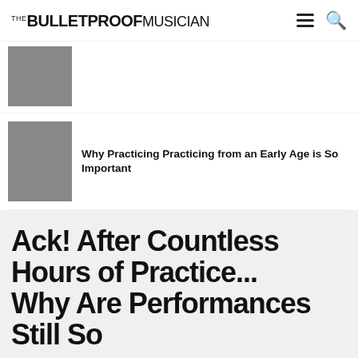THE BULLETPROOF MUSICIAN
[Figure (photo): Thumbnail photo of a violin player (partially visible, dark tones)]
[Figure (photo): Thumbnail photo of a child's hands on a piano keyboard]
Why Practicing Practicing from an Early Age is So Important
Ack! After Countless Hours of Practice... Why Are Performances Still So
1.4K (Facebook share button), Twitter share button, Email share button